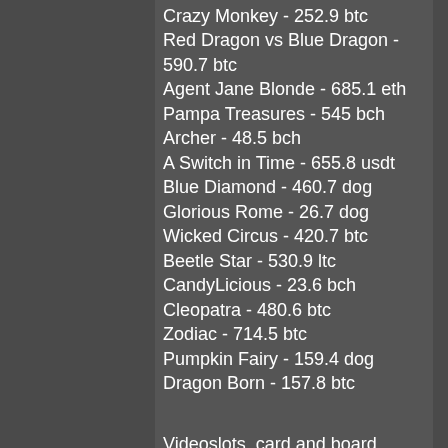Crazy Monkey - 252.9 btc
Red Dragon vs Blue Dragon - 590.7 btc
Agent Jane Blonde - 685.1 eth
Pampa Treasures - 545 bch
Archer - 48.5 bch
A Switch in Time - 655.8 usdt
Blue Diamond - 460.7 dog
Glorious Rome - 26.7 dog
Wicked Circus - 420.7 btc
Beetle Star - 530.9 ltc
CandyLicious - 23.6 bch
Cleopatra - 480.6 btc
Zodiac - 714.5 btc
Pumpkin Fairy - 159.4 dog
Dragon Born - 157.8 btc
Videoslots, card and board games:
Betcoin.ag Casino Blast! Boom! Bang!
Betcoin.ag Casino Dolphin Quest
BetChain Casino Golden Touch
Bitsasino.io Jazz It Up